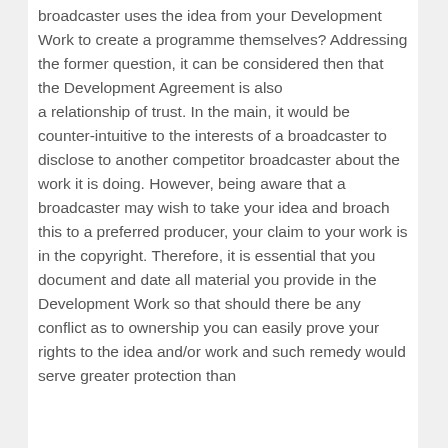broadcaster uses the idea from your Development Work to create a programme themselves? Addressing the former question, it can be considered then that the Development Agreement is also a relationship of trust. In the main, it would be counter-intuitive to the interests of a broadcaster to disclose to another competitor broadcaster about the work it is doing. However, being aware that a broadcaster may wish to take your idea and broach this to a preferred producer, your claim to your work is in the copyright. Therefore, it is essential that you document and date all material you provide in the Development Work so that should there be any conflict as to ownership you can easily prove your rights to the idea and/or work and such remedy would serve greater protection than